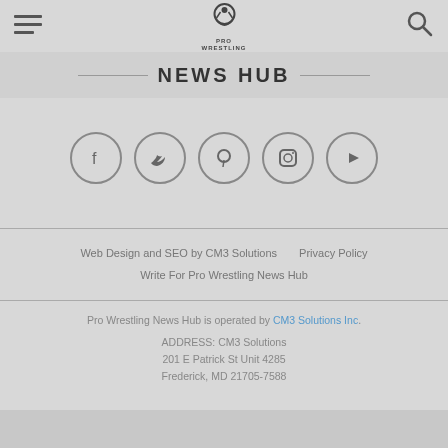PRO WRESTLING NEWS HUB
NEWS HUB
[Figure (illustration): Five social media icons in circles: Facebook, Twitter, Pinterest, Instagram, YouTube]
Web Design and SEO by CM3 Solutions   Privacy Policy   Write For Pro Wrestling News Hub
Pro Wrestling News Hub is operated by CM3 Solutions Inc.
ADDRESS: CM3 Solutions
201 E Patrick St Unit 4285
Frederick, MD 21705-7588